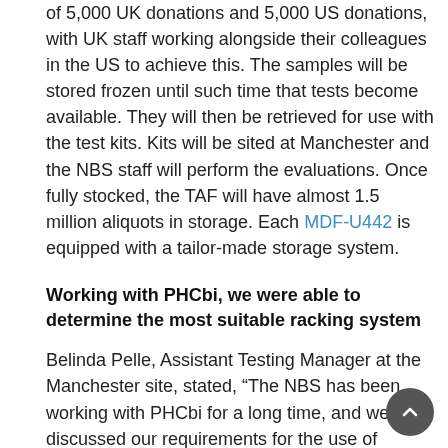of 5,000 UK donations and 5,000 US donations, with UK staff working alongside their colleagues in the US to achieve this. The samples will be stored frozen until such time that tests become available. They will then be retrieved for use with the test kits. Kits will be sited at Manchester and the NBS staff will perform the evaluations. Once fully stocked, the TAF will have almost 1.5 million aliquots in storage. Each MDF-U442 is equipped with a tailor-made storage system.
Working with PHCbi, we were able to determine the most suitable racking system
Belinda Pelle, Assistant Testing Manager at the Manchester site, stated, “The NBS has been working with PHCbi for a long time, and we discussed our requirements for the use of upright freezers as our storage environment of choice. Working alongside Richard Bennett (PHC UK Sales Manager), we were able to determine the most suitable racking system in order to store our samples safely, and for them to be easily retrievable. The storage capacity of the racking system then enabled us to determine the number of freezers that we required. We are very happy with our freezers